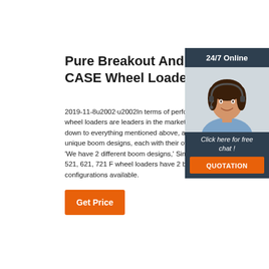Pure Breakout And Power Wi CASE Wheel Loaders
2019-11-8u2002·u2002In terms of performance, wheel loaders are leaders in the market. This comes down to everything mentioned above, as well as unique boom designs, each with their own advantages. 'We have 2 different boom designs,' Simon explained. 521, 621, 721 F wheel loaders have 2 boom/loader configurations available.
[Figure (photo): Woman with headset smiling, online chat support representative, with 24/7 Online header and Click here for free chat text, and QUOTATION button]
Get Price